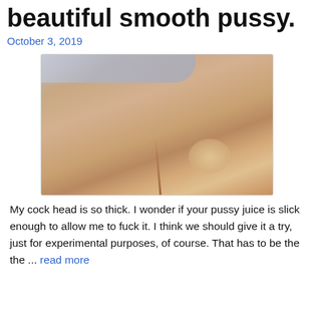beautiful smooth pussy.
October 3, 2019
[Figure (photo): Close-up photo of a person's body]
My cock head is so thick. I wonder if your pussy juice is slick enough to allow me to fuck it. I think we should give it a try, just for experimental purposes, of course. That has to be the the ... read more